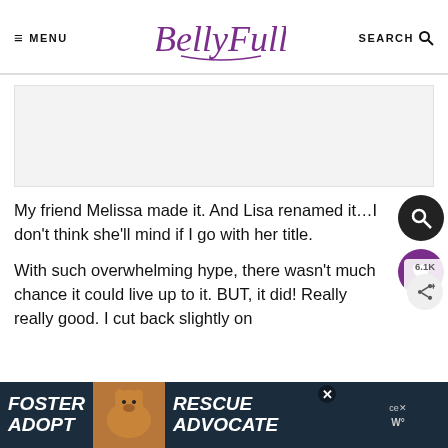≡ MENU  BellyFull  SEARCH 🔍
[Figure (other): Advertisement placeholder box (gray rectangle)]
My friend Melissa made it. And Lisa renamed it...I don't think she'll mind if I go with her title.
With such overwhelming hype, there wasn't much chance it could live up to it. BUT, it did! Really really good. I cut back slightly on
[Figure (photo): Bottom banner advertisement: FOSTER ADOPT / RESCUE ADVOCATE with a dog photo on dark background]